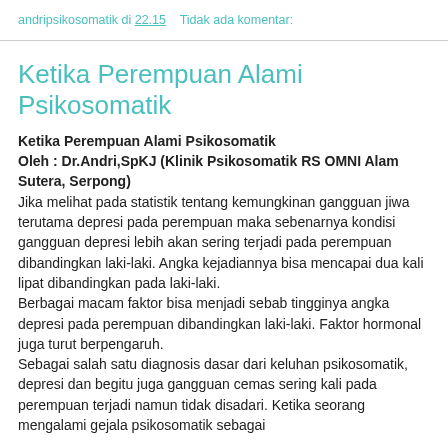andripsikosomatik di 22.15    Tidak ada komentar:
Ketika Perempuan Alami Psikosomatik
Ketika Perempuan Alami Psikosomatik
Oleh : Dr.Andri,SpKJ (Klinik Psikosomatik RS OMNI Alam Sutera, Serpong)
Jika melihat pada statistik tentang kemungkinan gangguan jiwa terutama depresi pada perempuan maka sebenarnya kondisi gangguan depresi lebih akan sering terjadi pada perempuan dibandingkan laki-laki. Angka kejadiannya bisa mencapai dua kali lipat dibandingkan pada laki-laki.
Berbagai macam faktor bisa menjadi sebab tingginya angka depresi pada perempuan dibandingkan laki-laki. Faktor hormonal juga turut berpengaruh.
Sebagai salah satu diagnosis dasar dari keluhan psikosomatik, depresi dan begitu juga gangguan cemas sering kali pada perempuan terjadi namun tidak disadari. Ketika seorang mengalami gejala psikosomatik sebagai